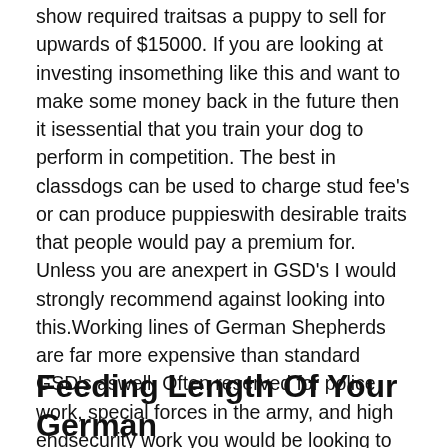show required traitsas a puppy to sell for upwards of $15000. If you are looking at investing insomething like this and want to make some money back in the future then it isessential that you train your dog to perform in competition. The best in classdogs can be used to charge stud fee's or can produce puppieswith desirable traits that people would pay a premium for. Unless you are anexpert in GSD's I would strongly recommend against looking into this.Working lines of German Shepherds are far more expensive than standard GSD's aswell. Often reserved for police work, special forces in the army, and high endsecurity work you would be looking to pay well over $10'000 for a dog. Severalbloodlines of very successful working GSD's are not even for sale to thepublic. If you are looking for a trained guard dog rather than a puppy thenexpect to pay even more .
Feeding Length Of Your German